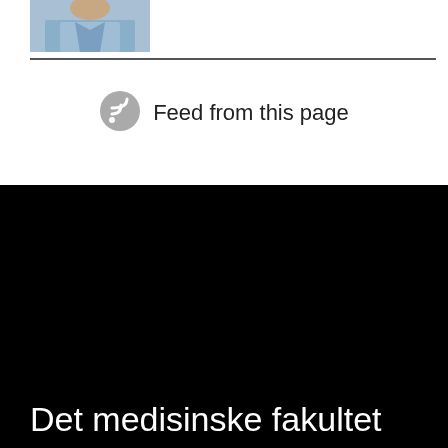[Figure (photo): Partial photo of a person in a blue shirt, cropped at top of page]
[Figure (infographic): RSS feed icon (grey circle with wifi/feed symbol) followed by text 'Feed from this page']
Det medisinske fakultet
BESØKSADRESSE
Sogn Arena (kart)
Klaus Torgårds vei 3, 2. etg
0372 OSLO